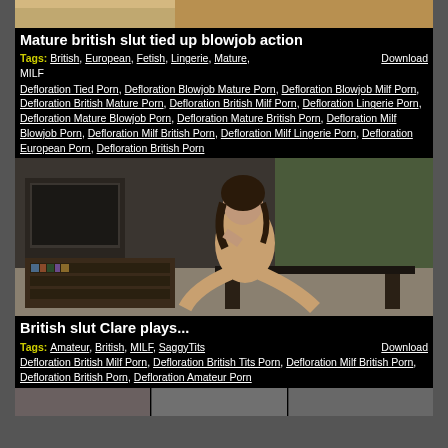[Figure (photo): Partial image of a scene at top of page]
Mature british slut tied up blowjob action
Tags: British, European, Fetish, Lingerie, Mature, MILF  Download
Defloration Tied Porn, Defloration Blowjob Mature Porn, Defloration Blowjob Milf Porn, Defloration British Mature Porn, Defloration British Milf Porn, Defloration Lingerie Porn, Defloration Mature Blowjob Porn, Defloration Mature British Porn, Defloration Milf Blowjob Porn, Defloration Milf British Porn, Defloration Milf Lingerie Porn, Defloration European Porn, Defloration British Porn
[Figure (photo): Woman posing in a room with television and bookshelf]
British slut Clare plays...
Tags: Amateur, British, MILF, SaggyTits  Download
Defloration British Milf Porn, Defloration British Tits Porn, Defloration Milf British Porn, Defloration British Porn, Defloration Amateur Porn
[Figure (photo): Bottom strip thumbnails]